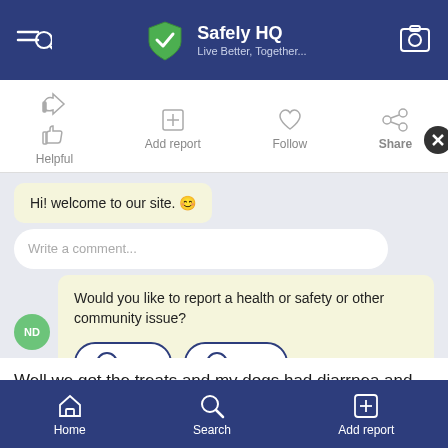Safely HQ — Live Better, Together...
Helpful | Add report | Follow | Share
Hi! welcome to our site. 😊
Write a comment...
Would you like to report a health or safety or other community issue?
Yes | Skip
Well we got the treats and my dogs had diarrnea and vomiting and they won't stop | Symptoms: Diarrh Vomiting
Home | Search | Add report